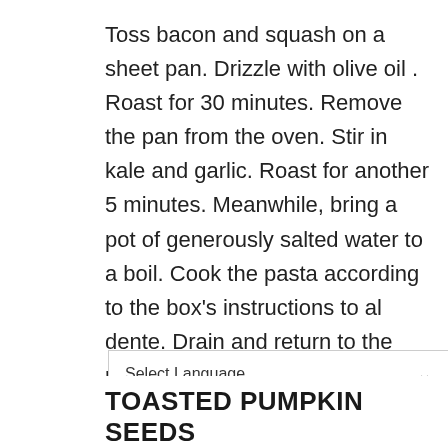Toss bacon and squash on a sheet pan. Drizzle with olive oil . Roast for 30 minutes. Remove the pan from the oven. Stir in kale and garlic. Roast for another 5 minutes. Meanwhile, bring a pot of generously salted water to a boil. Cook the pasta according to the box’s instructions to al dente. Drain and return to the pot. Tip the contents of the sheet pan into the pasta pot. Toss with butter and a generous amount of Pecorino Romano. Add salt, pepper and red pepper flakes to taste.
TOASTED PUMPKIN SEEDS